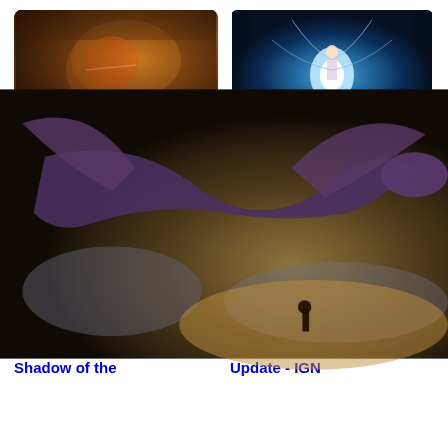[Figure (photo): Football player in orange and black helmet catching a ball in stadium]
[Figure (photo): Sci-fi anime character floating in blue glowing light with cables]
Madden 23: How to relocate a team in Franchise Mode
How to check Weapon combos in Tower of Fantasy
[Figure (photo): Best Games of 2022 So Far - collage with game characters]
[Figure (photo): Dragon fantasy scene for Naraka Bladepoint]
Squirrel with a Gun Is Inspired by Yakuza and Shadow of the
Lets Play Naraka: Bladepoint Anniversary Update - IGN